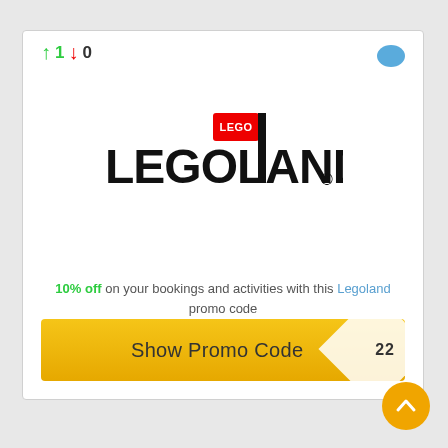↑ 1 ↓ 0
[Figure (logo): LEGOLAND logo with LEGO brick above the stylized LEGOLAND text]
10% off on your bookings and activities with this Legoland promo code
Show Promo Code — 22